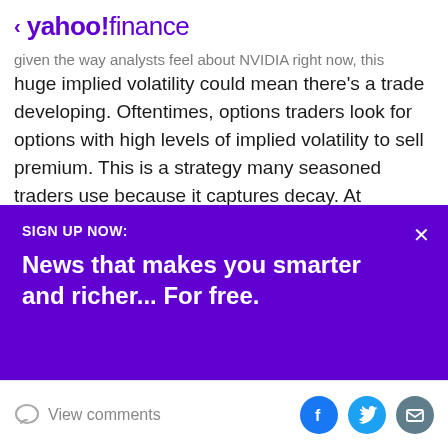< yahoo!finance
given the way analysts feel about NVIDIA right now, this huge implied volatility could mean there's a trade developing. Oftentimes, options traders look for options with high levels of implied volatility to sell premium. This is a strategy many seasoned traders use because it captures decay. At expiration, the hope for these traders is that the underlying stock does not move as much as originally expected.
Want the latest recommendations from Zacks
[Figure (infographic): Purple sign-up banner reading: SIGN UP NOW: News that makes you smarter and richer... For free. With an X close button.]
View comments
[Figure (infographic): Social sharing icons: Facebook (blue circle with f), Twitter (light blue circle with bird), Email (blue-grey circle with envelope)]